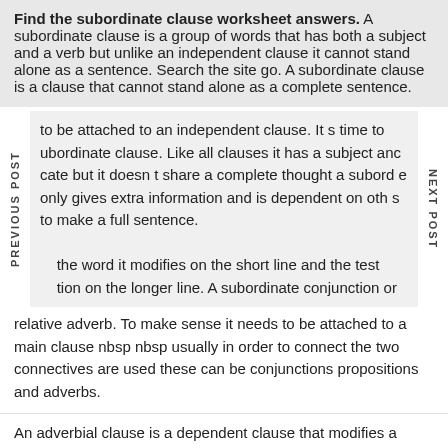Find the subordinate clause worksheet answers. A subordinate clause is a group of words that has both a subject and a verb but unlike an independent clause it cannot stand alone as a sentence. Search the site go. A subordinate clause is a clause that cannot stand alone as a complete sentence.
to be attached to an independent clause. It s time to ubordinate clause. Like all clauses it has a subject anc cate but it doesn t share a complete thought a subord e only gives extra information and is dependent on oth s to make a full sentence.
the word it modifies on the short line and the test tion on the longer line. A subordinate conjunction or relative adverb. To make sense it needs to be attached to a main clause nbsp nbsp usually in order to connect the two connectives are used these can be conjunctions propositions and adverbs.
An adverbial clause is a dependent clause that modifies a verb.